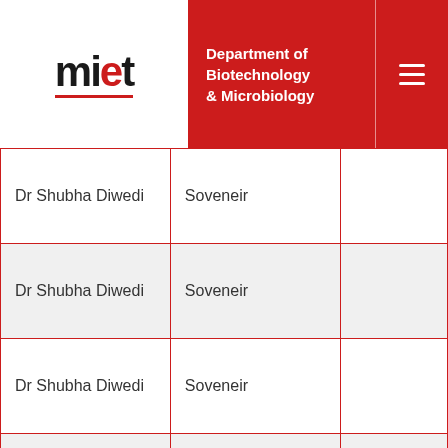MIET – Department of Biotechnology & Microbiology
| Name | Type | Details (partial) |
| --- | --- | --- |
| Dr Shubha Diwedi | Soveneir |  |
| Dr Shubha Diwedi | Soveneir |  |
| Dr Shubha Diwedi | Soveneir |  |
| Dr Shubha Diwedi | Soveneir |  |
| Ms Nelofar karim | Soveneir |  |